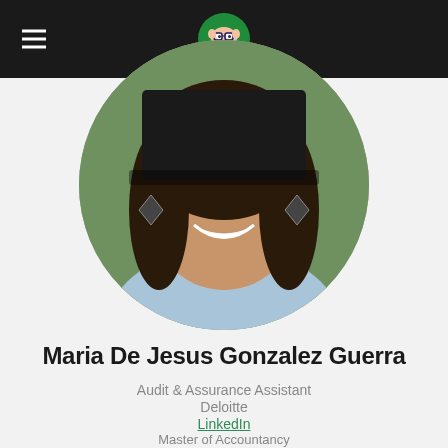Navigation bar with hamburger menu and logo
[Figure (photo): Circular profile photo of a smiling woman with curly dark hair, wearing diamond-shaped earrings and a light blue top]
Maria De Jesus Gonzalez Guerra
Audit & Assurance Assistant
Deloitte
LinkedIn
Master of Accountancy
BBA - Accounting